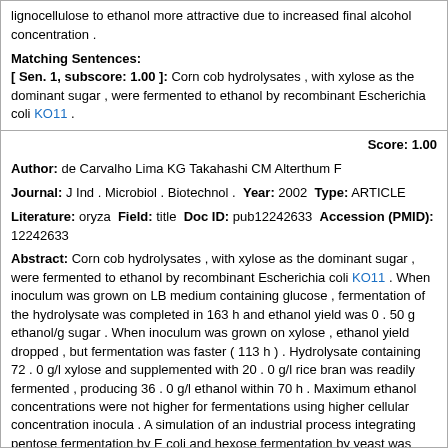lignocellulose to ethanol more attractive due to increased final alcohol concentration .
Matching Sentences:
[ Sen. 1, subscore: 1.00 ]: Corn cob hydrolysates , with xylose as the dominant sugar , were fermented to ethanol by recombinant Escherichia coli KO11 .
Score: 1.00
Author: de Carvalho Lima KG Takahashi CM Alterthum F
Journal: J Ind . Microbiol . Biotechnol . Year: 2002 Type: ARTICLE
Literature: oryza Field: title Doc ID: pub12242633 Accession (PMID): 12242633
Abstract: Corn cob hydrolysates , with xylose as the dominant sugar , were fermented to ethanol by recombinant Escherichia coli KO11 . When inoculum was grown on LB medium containing glucose , fermentation of the hydrolysate was completed in 163 h and ethanol yield was 0 . 50 g ethanol/g sugar . When inoculum was grown on xylose , ethanol yield dropped , but fermentation was faster ( 113 h ) . Hydrolysate containing 72 . 0 g/l xylose and supplemented with 20 . 0 g/l rice bran was readily fermented , producing 36 . 0 g/l ethanol within 70 h . Maximum ethanol concentrations were not higher for fermentations using higher cellular concentration inocula . A simulation of an industrial process integrating pentose fermentation by E coli and hexose fermentation by yeast was carried out . At the first step , E coli fermented the hydrolysate containing 85 . 0 g/l xylose , producing 40 . 0 g/l ethanol in 94 h . Bakers yeast and sucrose ( 150 . 0 g/l ) were then added to the spent fermentation broth . After 8 h of yeast fermentation , the ethanol concentration reached 104 . 0 g/l . This two-stage fermentation can render the bioconversion of